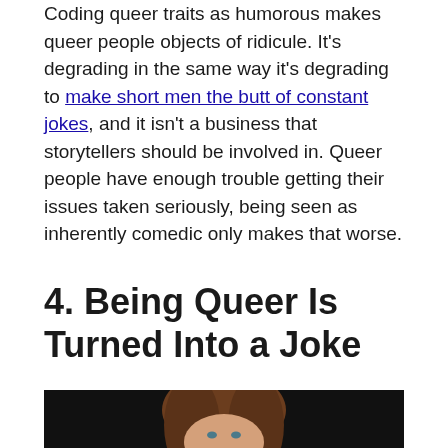Coding queer traits as humorous makes queer people objects of ridicule. It's degrading in the same way it's degrading to make short men the butt of constant jokes, and it isn't a business that storytellers should be involved in. Queer people have enough trouble getting their issues taken seriously, being seen as inherently comedic only makes that worse.
4. Being Queer Is Turned Into a Joke
[Figure (photo): A woman with shoulder-length brown hair photographed against a dark background, visible from approximately the shoulders up.]